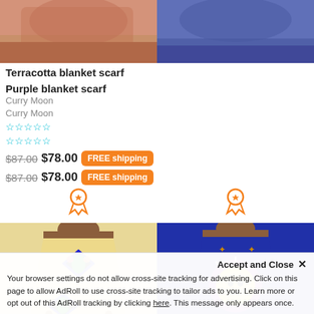[Figure (photo): Terracotta blanket scarf product image, top portion cropped]
[Figure (photo): Purple blanket scarf product image, top portion cropped]
Terracotta blanket scarf
Purple blanket scarf
Curry Moon
Curry Moon
☆☆☆☆☆
☆☆☆☆☆
$87.00  $78.00  FREE shipping
$87.00  $78.00  FREE shipping
[Figure (photo): A-line dress with Persian Calligraphy Golestani pattern on cream/beige background]
[Figure (photo): A-line dress with Persian Colorful pattern on dark blue background]
Persian Calligraphy Golestani
Persian Colorful
Accept and Close ✕
Your browser settings do not allow cross-site tracking for advertising. Click on this page to allow AdRoll to use cross-site tracking to tailor ads to you. Learn more or opt out of this AdRoll tracking by clicking here. This message only appears once.